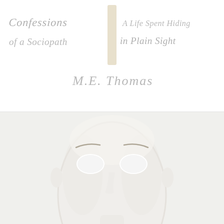[Figure (illustration): Book cover of 'Confessions of a Sociopath: A Life Spent Hiding in Plain Sight' by M.E. Thomas. Top half is white with handwritten-style text showing the title split across two columns with a vertical beige/cream bar divider in the center, and the author name M.E. Thomas below. Bottom half shows a white featureless mask/face with subtle eyebrows and hollow eye openings, centered on a light gray-white background.]